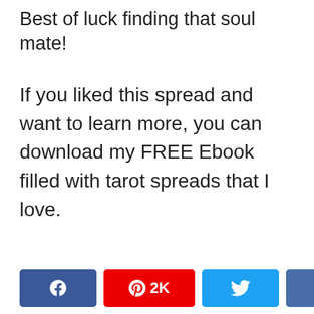Best of luck finding that soul mate!
If you liked this spread and want to learn more, you can download my FREE Ebook filled with tarot spreads that I love.
[Figure (infographic): Social share bar with Facebook, Pinterest (2K), Twitter, LinkedIn buttons and a share count of 2K SHARES]